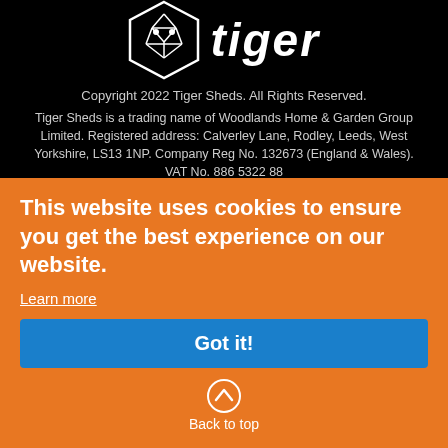[Figure (logo): Tiger Sheds logo — geometric white tiger head in hexagon outline with 'tiger' wordmark in white italic bold font]
Copyright 2022 Tiger Sheds. All Rights Reserved.
Tiger Sheds is a trading name of Woodlands Home & Garden Group Limited. Registered address: Calverley Lane, Rodley, Leeds, West Yorkshire, LS13 1NP. Company Reg No. 132673 (England & Wales). VAT No. 886 5322 88
Tiger Sheds acts as a credit intermediary and offer credit products provided exclusively by Klarna. Klarna is Authorised by the Swedish Financial Services Authority (Finansinspektionen) and is subject to limited regulation by the Financial Conduct Authority.
Details about the extent of our regulation by the Financial Conduct Authority are available to permanent UK residents aged over 18, subject to status, terms and conditions apply.
Registered office: Sveavagen 46, 111 34 Stockholm, Sweden. Corporation ID number: 556737-0431
This website uses cookies to ensure you get the best experience on our website.
Learn more
Got it!
Back to top